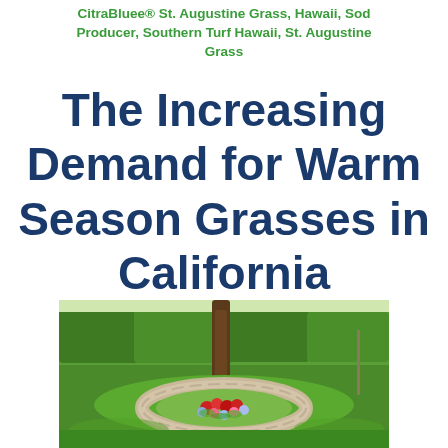CitraBluee® St. Augustine Grass, Hawaii, Sod Producer, Southern Turf Hawaii, St. Augustine Grass
The Increasing Demand for Warm Season Grasses in California
[Figure (photo): Photograph of a well-maintained green lawn with a circular stone garden border around a tree, filled with red, pink and blue flowers.]